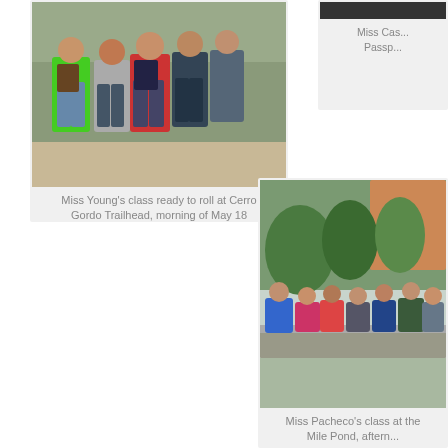[Figure (photo): Group of elementary school students at Cerro Gordo Trailhead, posing and waving on a dirt trail]
Miss Young's class ready to roll at Cerro Gordo Trailhead, morning of May 18
[Figure (photo): Partial dark image - Miss Cas... class, partially visible]
Miss Cas... Passp...
[Figure (photo): Students leaning over a concrete wall or bridge, looking at Mile Pond below, with green trees and red rock canyon behind them]
Miss Pacheco's class at the Mile Pond, aftern...